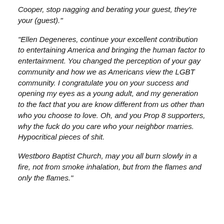Cooper, stop nagging and berating your guest, they're your (guest)."
"Ellen Degeneres, continue your excellent contribution to entertaining America and bringing the human factor to entertainment. You changed the perception of your gay community and how we as Americans view the LGBT community. I congratulate you on your success and opening my eyes as a young adult, and my generation to the fact that you are know different from us other than who you choose to love. Oh, and you Prop 8 supporters, why the fuck do you care who your neighbor marries. Hypocritical pieces of shit.
Westboro Baptist Church, may you all burn slowly in a fire, not from smoke inhalation, but from the flames and only the flames."